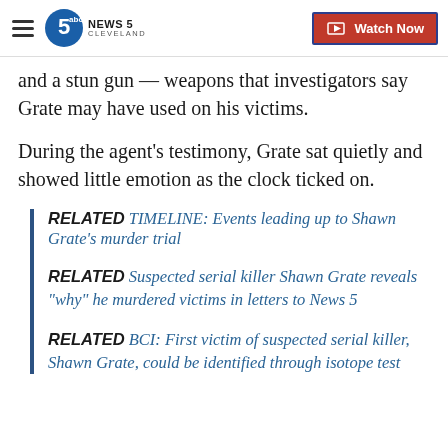NEWS 5 CLEVELAND | Watch Now
and a stun gun — weapons that investigators say Grate may have used on his victims.
During the agent's testimony, Grate sat quietly and showed little emotion as the clock ticked on.
RELATED TIMELINE: Events leading up to Shawn Grate's murder trial
RELATED Suspected serial killer Shawn Grate reveals "why" he murdered victims in letters to News 5
RELATED BCI: First victim of suspected serial killer, Shawn Grate, could be identified through isotope test